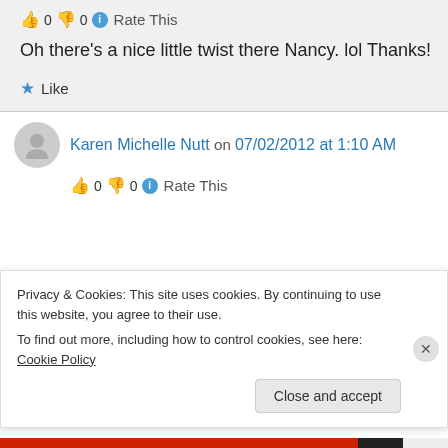👍 0 👎 0 ℹ Rate This
Oh there's a nice little twist there Nancy. lol Thanks!
★ Like
Karen Michelle Nutt on 07/02/2012 at 1:10 AM
👍 0 👎 0 ℹ Rate This
Privacy & Cookies: This site uses cookies. By continuing to use this website, you agree to their use.
To find out more, including how to control cookies, see here: Cookie Policy
Close and accept